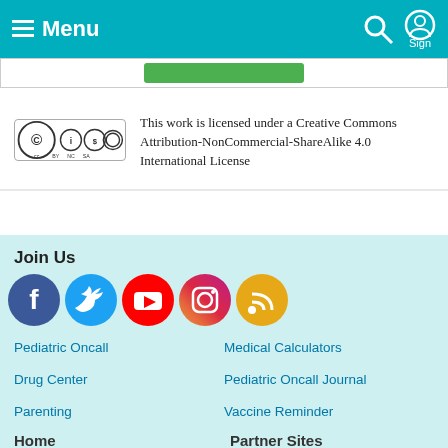Menu
[Figure (logo): Creative Commons BY NC SA license badge]
This work is licensed under a Creative Commons Attribution-NonCommercial-ShareAlike 4.0 International License
Join Us
[Figure (infographic): Social media icons: Facebook, Twitter, YouTube, Instagram, RSS]
Pediatric Oncall
Medical Calculators
Drug Center
Pediatric Oncall Journal
Parenting
Vaccine Reminder
Home    Partner Sites